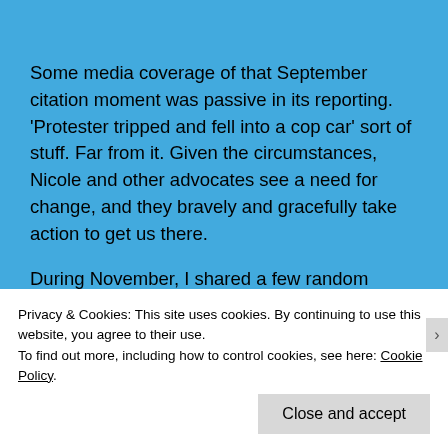Some media coverage of that September citation moment was passive in its reporting.  'Protester tripped and fell into a cop car' sort of stuff.  Far from it.  Given the circumstances, Nicole and other advocates see a need for change, and they bravely and gracefully take action to get us there.
During November, I shared a few random tweets about life with diabetes, the hope for a cure, etc.  But mostly, I tried to do more listening than talking this time around.  As I tackle other challenges lately, diabetes
Privacy & Cookies: This site uses cookies. By continuing to use this website, you agree to their use.
To find out more, including how to control cookies, see here: Cookie Policy